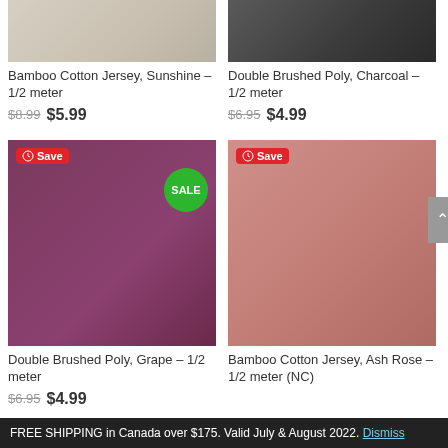[Figure (photo): Beige/cream fabric draped on mannequin (top, cropped)]
[Figure (photo): Dark charcoal fabric draped on mannequin (top, cropped)]
Bamboo Cotton Jersey, Sunshine – 1/2 meter
$8.99 $5.99
Double Brushed Poly, Charcoal – 1/2 meter
$6.95 $4.99
[Figure (photo): Purple/grape fabric draped on mannequin with Save badge and SALE badge]
[Figure (photo): Ash rose fabric draped on mannequin with Save badge]
Double Brushed Poly, Grape – 1/2 meter
$6.95 $4.99
Bamboo Cotton Jersey, Ash Rose – 1/2 meter (NC)
FREE SHIPPING in Canada over $175. Valid July & August 2022. Dismiss